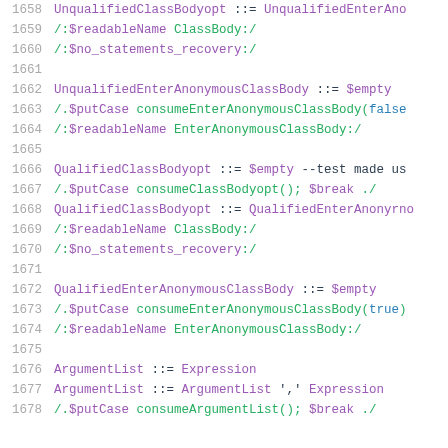1658  UnqualifiedClassBodyopt ::= UnqualifiedEnterAno
1659  /:$readableName ClassBody:/
1660  /:$no_statements_recovery:/
1661
1662  UnqualifiedEnterAnonymousClassBody ::= $empty
1663  /.$putCase consumeEnterAnonymousClassBody(false
1664  /:$readableName EnterAnonymousClassBody:/
1665
1666  QualifiedClassBodyopt ::= $empty --test made us
1667  /.$putCase consumeClassBodyopt(); $break ./
1668  QualifiedClassBodyopt ::= QualifiedEnterAnonyrno
1669  /:$readableName ClassBody:/
1670  /:$no_statements_recovery:/
1671
1672  QualifiedEnterAnonymousClassBody ::= $empty
1673  /.$putCase consumeEnterAnonymousClassBody(true)
1674  /:$readableName EnterAnonymousClassBody:/
1675
1676  ArgumentList ::= Expression
1677  ArgumentList ::= ArgumentList ',' Expression
1678  /.$putCase consumeArgumentList(); $break ./